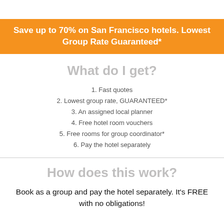Save up to 70% on San Francisco hotels. Lowest Group Rate Guaranteed*
What do I get?
1. Fast quotes
2. Lowest group rate, GUARANTEED*
3. An assigned local planner
4. Free hotel room vouchers
5. Free rooms for group coordinator*
6. Pay the hotel separately
How does this work?
Book as a group and pay the hotel separately. It's FREE with no obligations!